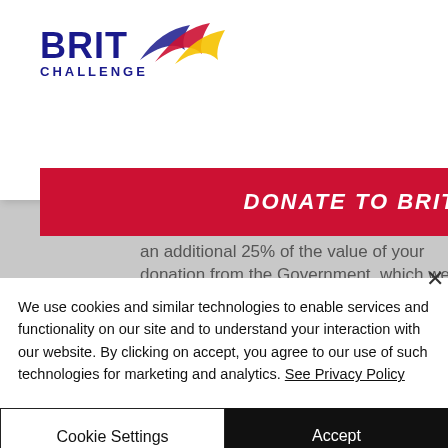[Figure (screenshot): BRIT Challenge website screenshot showing navigation header with logo, hamburger menu, red donate button, partial body text about Gift Aid donation, and a cookie consent banner overlay with Cookie Settings and Accept buttons.]
d like us to claim Gift Aid, we can claim an additional 25% of the value of your donation from the Government, which we use to help us cover our running costs. It won't cost you a penny and it means that every
We use cookies and similar technologies to enable services and functionality on our site and to understand your interaction with our website. By clicking on accept, you agree to our use of such technologies for marketing and analytics. See Privacy Policy